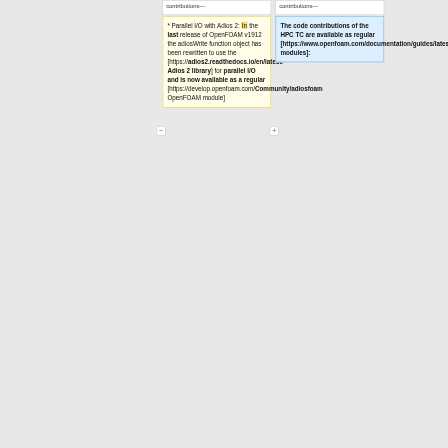contributions—
contributions—
* Parallel I/O with Adios 2: In the last release of OpenFOAM v1912 the adiosWrite function object has been rewritten to use the [https://adios2.readthedocs.io/en/latest/ Adios 2 library] for parallel I/O and is now available as a regular [https://develop.openfoam.com/Community/adiosfoam OpenFOAM module]
The code contributions of the HPC TC are available as regular [https://www.openfoam.com/documentation/guides/latest/api/modules.html modules]: